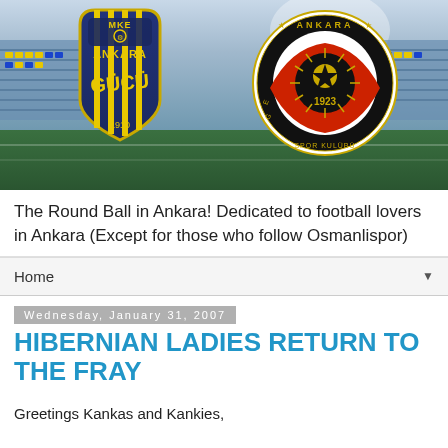[Figure (photo): Stadium background with two Ankara football club logos: MKE Ankaragücü (blue/yellow shield) on the left and Ankara Gençlerbirliği Spor Kulübü (circular red/black badge, 1923) on the right]
The Round Ball in Ankara! Dedicated to football lovers in Ankara (Except for those who follow Osmanlispor)
Home
Wednesday, January 31, 2007
HIBERNIAN LADIES RETURN TO THE FRAY
Greetings Kankas and Kankies,